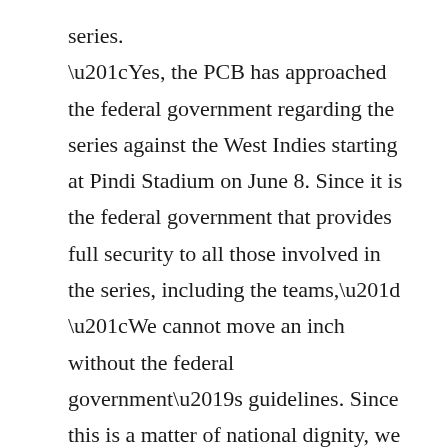series.
“Yes, the PCB has approached the federal government regarding the series against the West Indies starting at Pindi Stadium on June 8. Since it is the federal government that provides full security to all those involved in the series, including the teams,” “We cannot move an inch without the federal government’s guidelines. Since this is a matter of national dignity, we will only follow the government in this regard,” a source told The News. Told
Pindi Stadium has been identified as the first